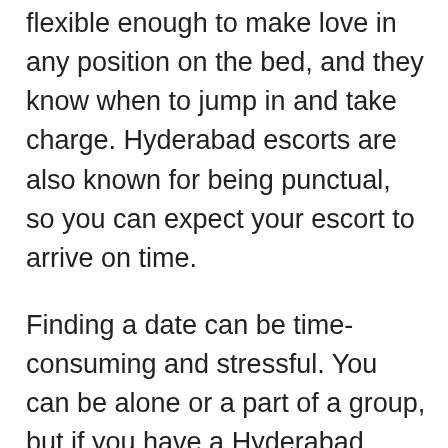flexible enough to make love in any position on the bed, and they know when to jump in and take charge. Hyderabad escorts are also known for being punctual, so you can expect your escort to arrive on time.
Finding a date can be time-consuming and stressful. You can be alone or a part of a group, but if you have a Hyderabad escort, she'll make your life more exciting and fun. You'll never have to worry about being the center of attention again. And with Hyderabad escorts, you can finally get your night out to the next level. Your partner will be astonished at your attention.
Hyderabad female escorts are the ultimate option. They are trained professionals and experienced in the field. They know exactly where to touch a